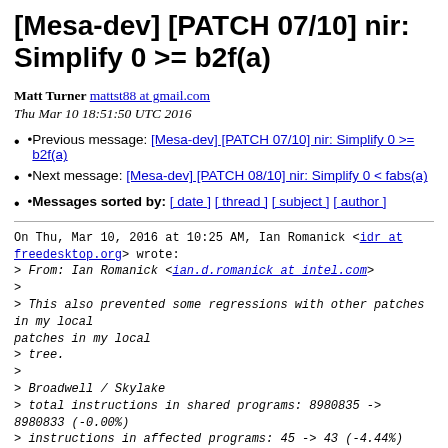[Mesa-dev] [PATCH 07/10] nir: Simplify 0 >= b2f(a)
Matt Turner mattst88 at gmail.com
Thu Mar 10 18:51:50 UTC 2016
Previous message: [Mesa-dev] [PATCH 07/10] nir: Simplify 0 >= b2f(a)
Next message: [Mesa-dev] [PATCH 08/10] nir: Simplify 0 < fabs(a)
Messages sorted by: [ date ] [ thread ] [ subject ] [ author ]
On Thu, Mar 10, 2016 at 10:25 AM, Ian Romanick <idr at freedesktop.org> wrote:
> From: Ian Romanick <ian.d.romanick at intel.com>
>
> This also prevented some regressions with other patches in my local
> tree.
>
> Broadwell / Skylake
> total instructions in shared programs: 8980835 -> 8980833 (-0.00%)
> instructions in affected programs: 45 -> 43 (-4.44%)